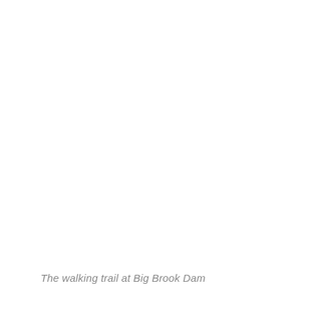The walking trail at Big Brook Dam